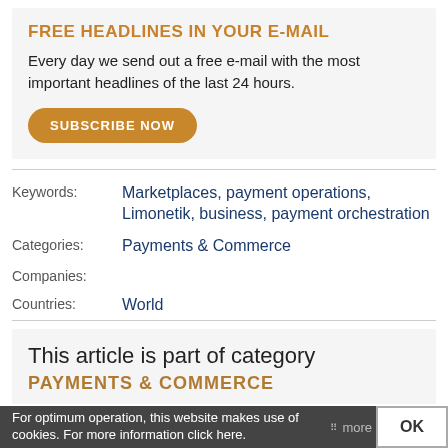FREE HEADLINES IN YOUR E-MAIL
Every day we send out a free e-mail with the most important headlines of the last 24 hours.
SUBSCRIBE NOW
Keywords: Marketplaces, payment operations, Limonetik, business, payment orchestration
Categories: Payments & Commerce
Companies:
Countries: World
This article is part of category
PAYMENTS & COMMERCE
For optimum operation, this website makes use of cookies. For more information click here.